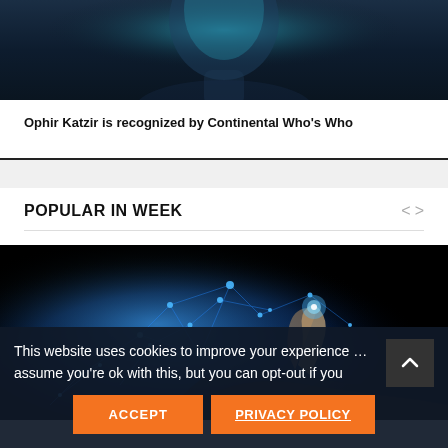[Figure (photo): Partial view of a 3D rendered or digital AI face profile on dark blue background, bottom portion visible]
Ophir Katzir is recognized by Continental Who’s Who
POPULAR IN WEEK
[Figure (photo): A glowing blue digital network hand reaching out on a dark/black background, representing AI or digital technology]
This website uses cookies to improve your experience … assume you’re ok with this, but you can opt-out if you
ACCEPT
Privacy Policy